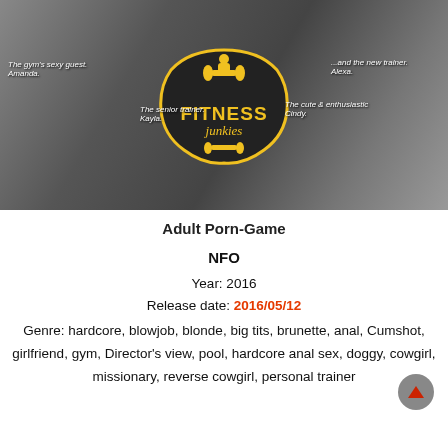[Figure (photo): Collage of fitness-themed adult content with a central 'FITNESS Junkies' badge/logo, featuring multiple people in gym settings with character label captions.]
Adult Porn-Game
NFO
Year: 2016
Release date: 2016/05/12
Genre: hardcore, blowjob, blonde, big tits, brunette, anal, Cumshot, girlfriend, gym, Director's view, pool, hardcore anal sex, doggy, cowgirl, missionary, reverse cowgirl, personal trainer